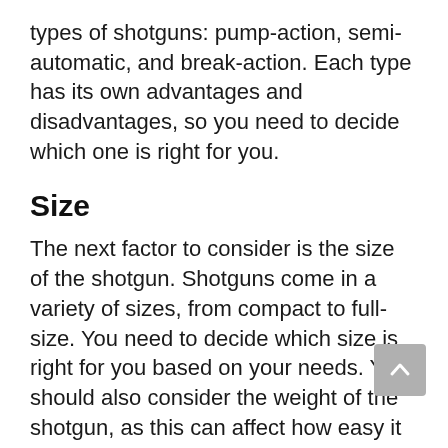types of shotguns: pump-action, semi-automatic, and break-action. Each type has its own advantages and disadvantages, so you need to decide which one is right for you.
Size
The next factor to consider is the size of the shotgun. Shotguns come in a variety of sizes, from compact to full-size. You need to decide which size is right for you based on your needs. You should also consider the weight of the shotgun, as this can affect how easy it is to carry and use.
Gauge